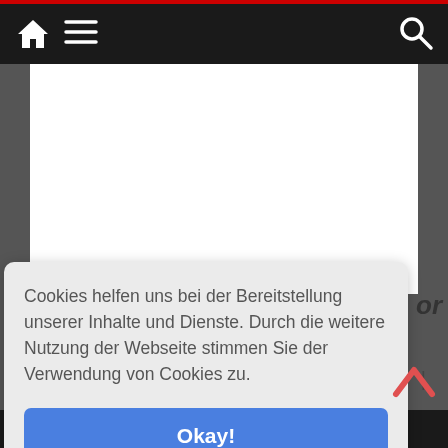Navigation bar with home icon, menu icon, and search icon
[Figure (screenshot): White content area placeholder]
Cookies helfen uns bei der Bereitstellung unserer Inhalte und Dienste. Durch die weitere Nutzung der Webseite stimmen Sie der Verwendung von Cookies zu.
Okay!
Privacy & Cookies Policy